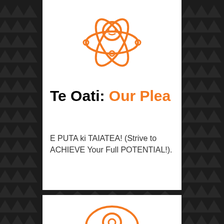[Figure (illustration): Orange outline icon of a person/astronaut figure with orbital rings around them, on white background]
Te Oati: Our Plea
E PUTA ki TAIATEA! (Strive to ACHIEVE Your Full POTENTIAL!).
[Figure (illustration): Partial orange outline eye/vision icon at the bottom of the page]